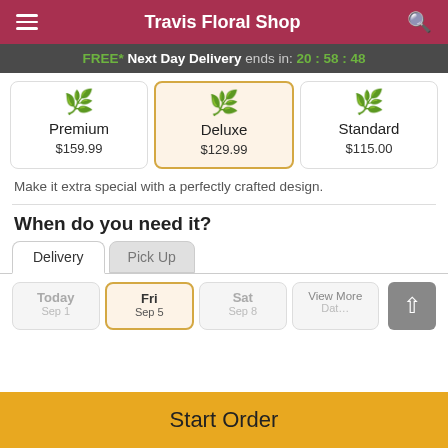Travis Floral Shop
FREE* Next Day Delivery ends in: 20:58:48
[Figure (other): Three product option cards: Premium $159.99, Deluxe $129.99 (selected/highlighted), Standard $115.00, each with a small flower arrangement icon]
Make it extra special with a perfectly crafted design.
When do you need it?
Delivery | Pick Up tabs
Today | Fri | Sat | View More date selector